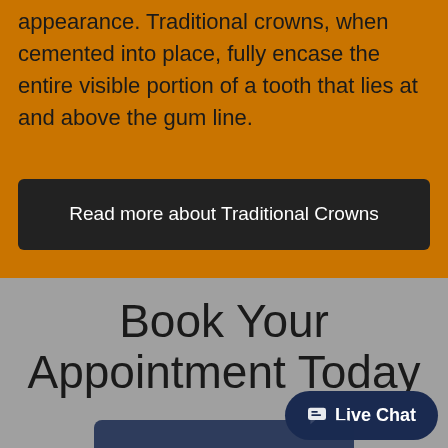appearance. Traditional crowns, when cemented into place, fully encase the entire visible portion of a tooth that lies at and above the gum line.
Read more about Traditional Crowns
Book Your Appointment Today
Live Chat